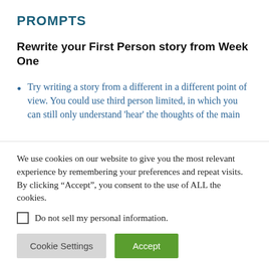PROMPTS
Rewrite your First Person story from Week One
Try writing a story from a different in a different point of view. You could use third person limited, in which you can still only understand 'hear' the thoughts of the main
We use cookies on our website to give you the most relevant experience by remembering your preferences and repeat visits. By clicking “Accept”, you consent to the use of ALL the cookies.
Do not sell my personal information.
Cookie Settings
Accept